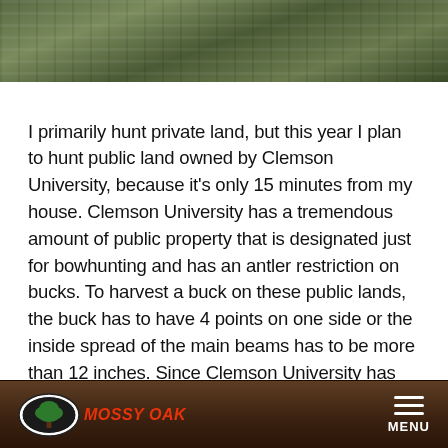[Figure (photo): Hunter in camouflage in a tree stand surrounded by green foliage]
I primarily hunt private land, but this year I plan to hunt public land owned by Clemson University, because it's only 15 minutes from my house. Clemson University has a tremendous amount of public property that is designated just for bowhunting and has an antler restriction on bucks. To harvest a buck on these public lands, the buck has to have 4 points on one side or the inside spread of the main beams has to be more than 12 inches. Since Clemson University has instituted antler restriction, some nice-size bucks have been harvested there.
Clemson owns several plots of land with one of the bigger Fant's Grove. Another portion of the Clemson property is
MOSSY OAK  MENU